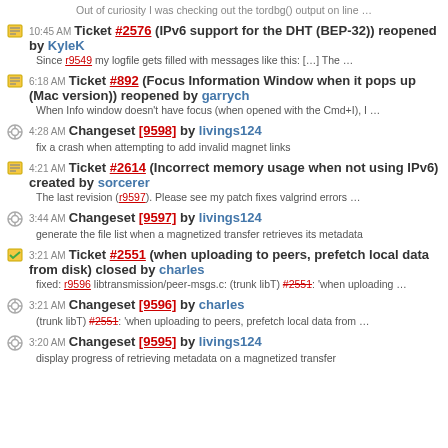Out of curiosity I was checking out the tordbg() output on line …
10:45 AM Ticket #2576 (IPv6 support for the DHT (BEP-32)) reopened by KyleK
Since r9549 my logfile gets filled with messages like this: […] The …
6:18 AM Ticket #892 (Focus Information Window when it pops up (Mac version)) reopened by garrych
When Info window doesn't have focus (when opened with the Cmd+I), I …
4:28 AM Changeset [9598] by livings124
fix a crash when attempting to add invalid magnet links
4:21 AM Ticket #2614 (Incorrect memory usage when not using IPv6) created by sorcerer
The last revision (r9597). Please see my patch fixes valgrind errors …
3:44 AM Changeset [9597] by livings124
generate the file list when a magnetized transfer retrieves its metadata
3:21 AM Ticket #2551 (when uploading to peers, prefetch local data from disk) closed by charles
fixed: r9596 libtransmission/peer-msgs.c: (trunk libT) #2551: 'when uploading …
3:21 AM Changeset [9596] by charles
(trunk libT) #2551: 'when uploading to peers, prefetch local data from …
3:20 AM Changeset [9595] by livings124
display progress of retrieving metadata on a magnetized transfer